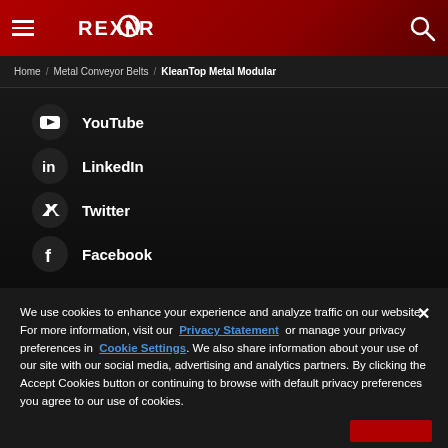Rexnord - KleanTop Metal Modular
Home / Metal Conveyor Belts / KleanTop Metal Modular
YouTube
LinkedIn
Twitter
Facebook
We use cookies to enhance your experience and analyze traffic on our website. For more information, visit our Privacy Statement or manage your privacy preferences in Cookie Settings. We also share information about your use of our site with our social media, advertising and analytics partners. By clicking the Accept Cookies button or continuing to browse with default privacy preferences you agree to our use of cookies.